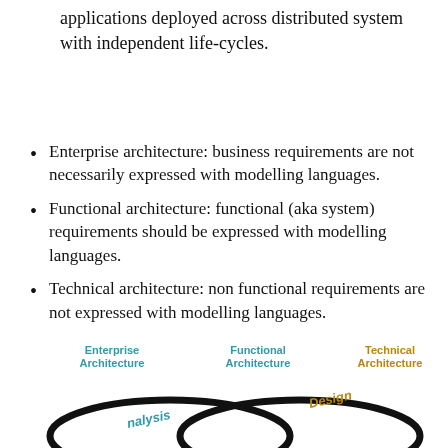applications deployed across distributed system with independent life-cycles.
Enterprise architecture: business requirements are not necessarily expressed with modelling languages.
Functional architecture: functional (aka system) requirements should be expressed with modelling languages.
Technical architecture: non functional requirements are not expressed with modelling languages.
[Figure (infographic): Diagram showing three architecture types at the bottom: Enterprise Architecture (teal/blue), Functional Architecture (teal/blue), and Technical Architecture (brown/gold), with overlapping elliptical shapes and labels 'Analysis' and 'Design' visible.]